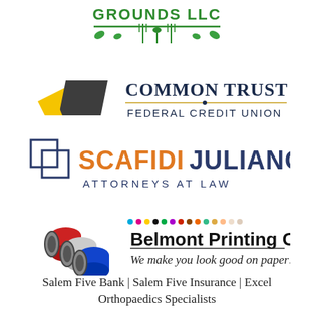[Figure (logo): Grounds LLC logo with green text and fork/spoon decorative elements]
[Figure (logo): Common Trust Federal Credit Union logo with yellow and dark geometric shapes]
[Figure (logo): Scafidi Juliano Attorneys at Law logo with overlapping square outlines]
[Figure (logo): Belmont Printing Co. logo with colorful ink rolls and tagline 'We make you look good on paper!']
Salem Five Bank | Salem Five Insurance | Excel Orthopaedics Specialists